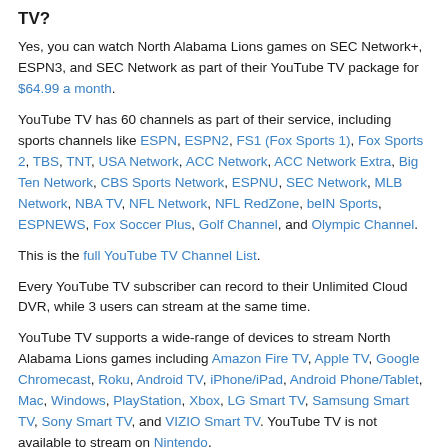TV?
Yes, you can watch North Alabama Lions games on SEC Network+, ESPN3, and SEC Network as part of their YouTube TV package for $64.99 a month.
YouTube TV has 60 channels as part of their service, including sports channels like ESPN, ESPN2, FS1 (Fox Sports 1), Fox Sports 2, TBS, TNT, USA Network, ACC Network, ACC Network Extra, Big Ten Network, CBS Sports Network, ESPNU, SEC Network, MLB Network, NBA TV, NFL Network, NFL RedZone, beIN Sports, ESPNEWS, Fox Soccer Plus, Golf Channel, and Olympic Channel.
This is the full YouTube TV Channel List.
Every YouTube TV subscriber can record to their Unlimited Cloud DVR, while 3 users can stream at the same time.
YouTube TV supports a wide-range of devices to stream North Alabama Lions games including Amazon Fire TV, Apple TV, Google Chromecast, Roku, Android TV, iPhone/iPad, Android Phone/Tablet, Mac, Windows, PlayStation, Xbox, LG Smart TV, Samsung Smart TV, Sony Smart TV, and VIZIO Smart TV. YouTube TV is not available to stream on Nintendo.